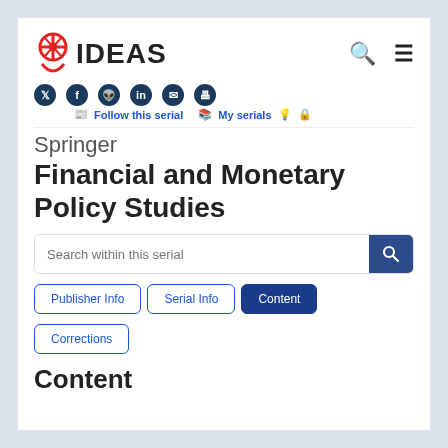IDEAS — Search icons, Follow this serial, My serials
Springer
Financial and Monetary Policy Studies
Search within this serial
Publisher Info | Serial Info | Content | Corrections
Content